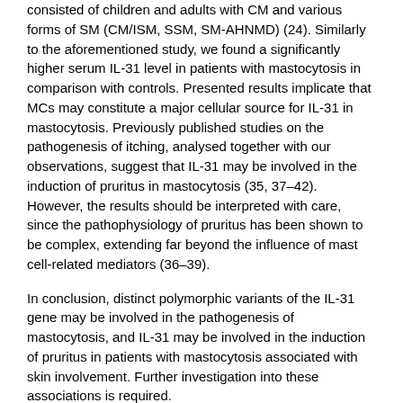consisted of children and adults with CM and various forms of SM (CM/ISM, SSM, SM-AHNMD) (24). Similarly to the aforementioned study, we found a significantly higher serum IL-31 level in patients with mastocytosis in comparison with controls. Presented results implicate that MCs may constitute a major cellular source for IL-31 in mastocytosis. Previously published studies on the pathogenesis of itching, analysed together with our observations, suggest that IL-31 may be involved in the induction of pruritus in mastocytosis (35, 37–42). However, the results should be interpreted with care, since the pathophysiology of pruritus has been shown to be complex, extending far beyond the influence of mast cell-related mediators (36–39).
In conclusion, distinct polymorphic variants of the IL-31 gene may be involved in the pathogenesis of mastocytosis, and IL-31 may be involved in the induction of pruritus in patients with mastocytosis associated with skin involvement. Further investigation into these associations is required.
ACKNOWLEDGEMENTS
Grant 02-0066/07 has ben received from from the Polish Ministry of